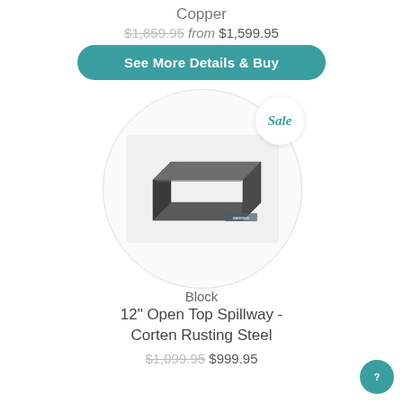Copper
$1,859.95 from $1,599.95
See More Details & Buy
[Figure (photo): A metal open top spillway product shown at an angle, dark gunmetal/corten steel finish, with a Sale badge in the upper right of the circular product image frame.]
Sale
Block
12" Open Top Spillway - Corten Rusting Steel
$1,099.95 $999.95